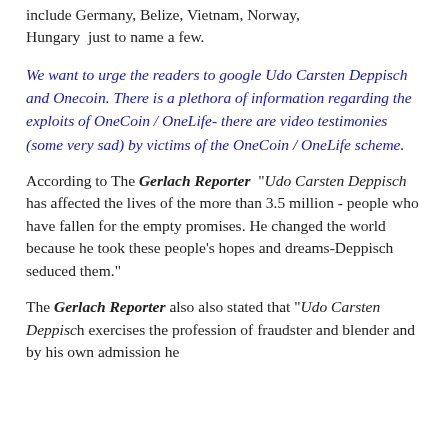include Germany, Belize, Vietnam, Norway, Hungary  just to name a few.
We want to urge the readers to google Udo Carsten Deppisch and Onecoin. There is a plethora of information regarding the exploits of OneCoin / OneLife- there are video testimonies (some very sad) by victims of the OneCoin / OneLife scheme.
According to The Gerlach Reporter “Udo Carsten Deppisch has affected the lives of the more than 3.5 million - people who have fallen for the empty promises. He changed the world because he took these people’s hopes and dreams-Deppisch seduced them.”
The Gerlach Reporter also also stated that “Udo Carsten Deppisch exercises the profession of fraudster and blender and by his own admission he